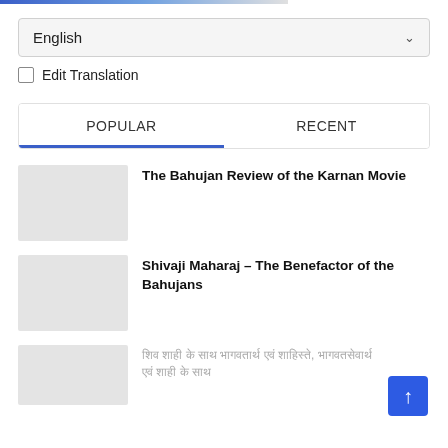English
Edit Translation
POPULAR | RECENT
The Bahujan Review of the Karnan Movie
Shivaji Maharaj – The Benefactor of the Bahujans
(Hindi script text)